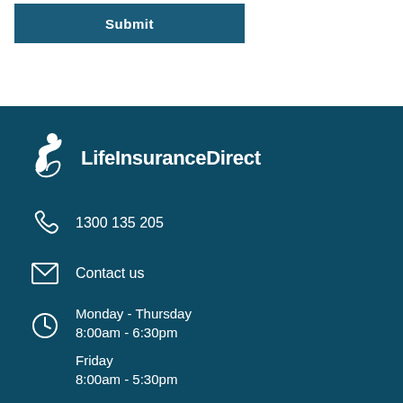Submit
[Figure (logo): LifeInsuranceDirect logo with stylized person figure and text]
1300 135 205
Contact us
Monday - Thursday
8:00am - 6:30pm

Friday
8:00am - 5:30pm